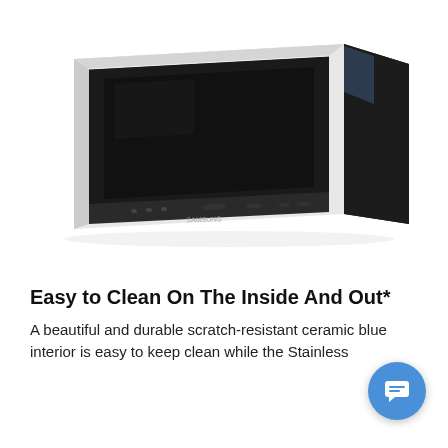[Figure (photo): Product photo of a Samsung microwave oven shown from a three-quarter front-left and rear-right angle, displaying the white/stainless front panel with black glass door and the black back/side of the unit with a label sticker, against a white background.]
Easy to Clean On The Inside And Out*
A beautiful and durable scratch-resistant ceramic blue interior is easy to keep clean while the Stainless Fingerprint Resistant finish on the outside resists...